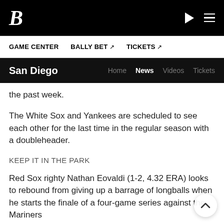B [logo] | play icon | hamburger menu
GAME CENTER | BALLY BET ↗ | TICKETS ↗
San Diego | Home | News | Videos | Tickets
the past week.
The White Sox and Yankees are scheduled to see each other for the last time in the regular season with a doubleheader.
KEEP IT IN THE PARK
Red Sox righty Nathan Eovaldi (1-2, 4.32 ERA) looks to rebound from giving up a barrage of longballs when he starts the finale of a four-game series against the Mariners